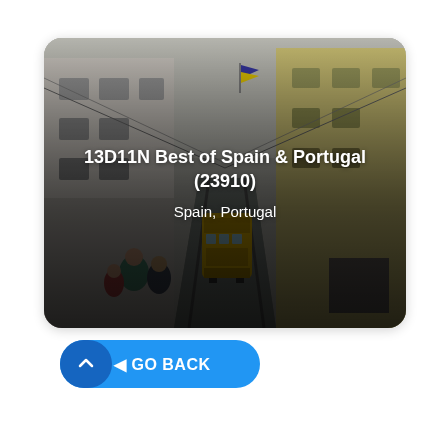[Figure (photo): Street scene with a yellow tram going up a narrow cobblestone street flanked by white and yellow buildings. People walking on the left side. Overhead tram wires visible against a hazy sky.]
13D11N Best of Spain & Portugal (23910)
Spain, Portugal
GO BACK